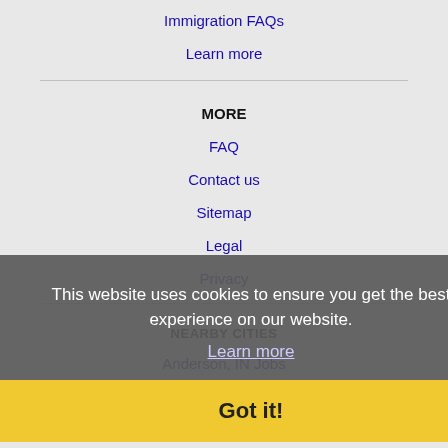Immigration FAQs
Learn more
MORE
FAQ
Contact us
Sitemap
Legal
Privacy
NEARBY CITIES
Anderson, IN Jobs
Bloomington, IN Jobs
Carmel, IN Jobs
Cincinnati, OH Jobs
Covington, KY Jobs
This website uses cookies to ensure you get the best experience on our website.
Learn more
Got it!